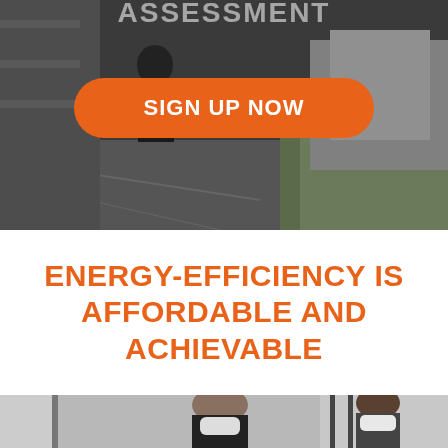[Figure (photo): Dark/grayscale outdoor photo showing a person near large equipment or vehicle, used as background banner image with orange 'SIGN UP NOW' button overlay]
SIGN UP NOW
ENERGY-EFFICIENCY IS AFFORDABLE AND ACHIEVABLE
[Figure (photo): Two people wearing protective face masks, one on the left and one on the right, partially visible at the bottom of the page]